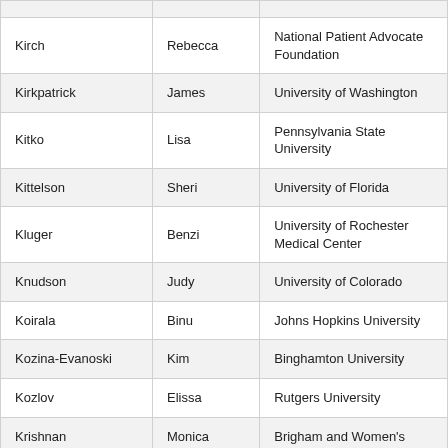| Kirch | Rebecca | National Patient Advocate Foundation |
| Kirkpatrick | James | University of Washington |
| Kitko | Lisa | Pennsylvania State University |
| Kittelson | Sheri | University of Florida |
| Kluger | Benzi | University of Rochester Medical Center |
| Knudson | Judy | University of Colorado |
| Koirala | Binu | Johns Hopkins University |
| Kozina-Evanoski | Kim | Binghamton University |
| Kozlov | Elissa | Rutgers University |
| Krishnan | Monica | Brigham and Women's |